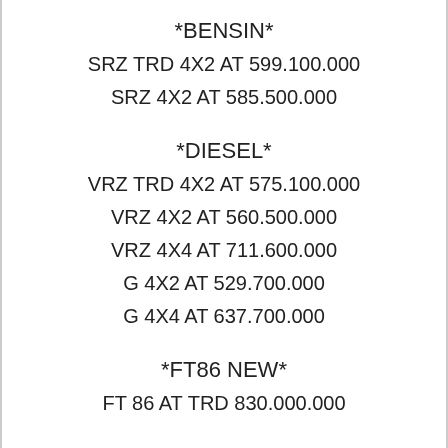*BENSIN*
SRZ TRD 4X2 AT 599.100.000
SRZ 4X2 AT 585.500.000
*DIESEL*
VRZ TRD 4X2 AT 575.100.000
VRZ 4X2 AT 560.500.000
VRZ 4X4 AT 711.600.000
G 4X2 AT 529.700.000
G 4X4 AT 637.700.000
*FT86 NEW*
FT 86 AT TRD 830.000.000